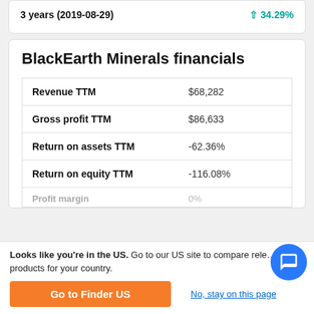|  |  |
| --- | --- |
| 3 years (2019-08-29) | 34.29% |
BlackEarth Minerals financials
| Metric | Value |
| --- | --- |
| Revenue TTM | $68,282 |
| Gross profit TTM | $86,633 |
| Return on assets TTM | -62.36% |
| Return on equity TTM | -116.08% |
| Profit margin | 0% |
Looks like you're in the US. Go to our US site to compare relevant products for your country.
Go to Finder US
No, stay on this page